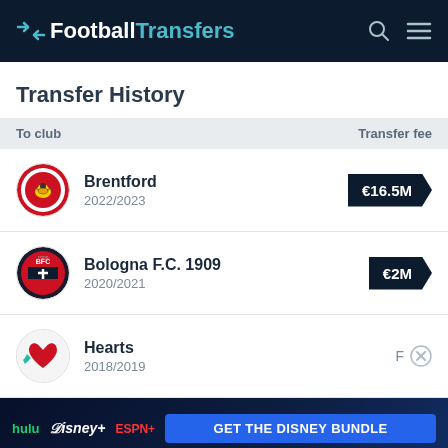FootballTransfers
Transfer History
| To club | Transfer fee |
| --- | --- |
| Brentford 2022/2023 | €16.5M |
| Bologna F.C. 1909 2020/2021 | €2M |
| Hearts 2018/2019 | Free |
| [obscured by ad] [obscured] | Free |
[Figure (screenshot): Disney Bundle advertisement banner: hulu, Disney+, ESPN+ logos with 'GET THE DISNEY BUNDLE' CTA button in blue, with fine print about Hulu access and 2021 Disney entities]